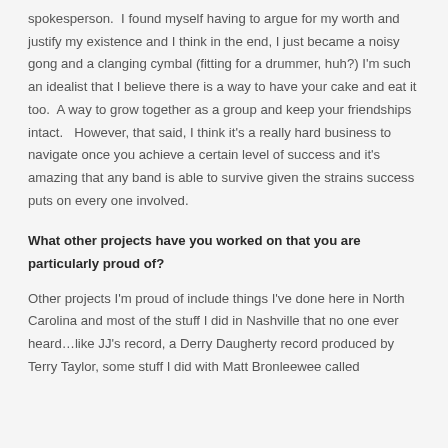spokesperson.  I found myself having to argue for my worth and justify my existence and I think in the end, I just became a noisy gong and a clanging cymbal (fitting for a drummer, huh?) I'm such an idealist that I believe there is a way to have your cake and eat it too.  A way to grow together as a group and keep your friendships intact.   However, that said, I think it's a really hard business to navigate once you achieve a certain level of success and it's amazing that any band is able to survive given the strains success puts on every one involved.
What other projects have you worked on that you are particularly proud of?
Other projects I'm proud of include things I've done here in North Carolina and most of the stuff I did in Nashville that no one ever heard…like JJ's record, a Derry Daugherty record produced by Terry Taylor, some stuff I did with Matt Bronleewee called